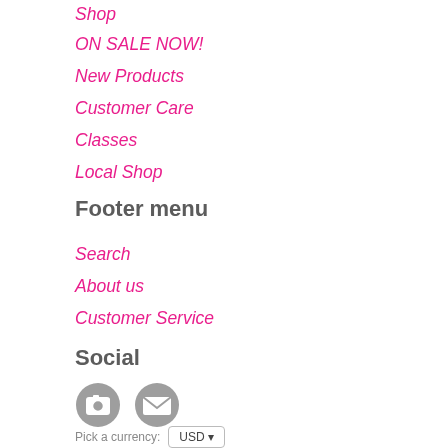Shop
ON SALE NOW!
New Products
Customer Care
Classes
Local Shop
Footer menu
Search
About us
Customer Service
Social
[Figure (illustration): Two circular social media icon buttons (camera/Instagram icon and envelope/email icon) in gray]
Pick a currency:
USD